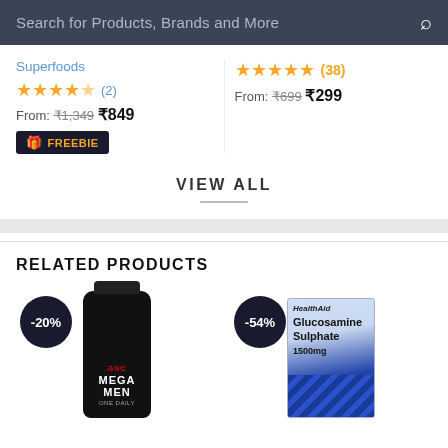Search for Products, Brands and More
Superfoods
★★★★☆ (2)
From: ₹1,349 ₹849
FREEBIE
★★★★★ (38)
From: ₹699 ₹299
VIEW ALL
RELATED PRODUCTS
[Figure (photo): GNC Mega Men One Daily supplement bottle, black, with -20% discount badge]
[Figure (photo): HealthAid Glucosamine Sulphate 1500mg box, blue/white, with -54% discount badge]